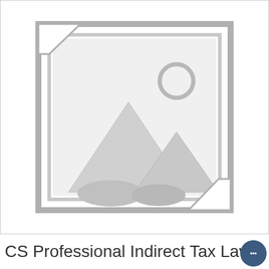[Figure (illustration): Placeholder image icon showing a landscape with mountains and a sun inside a frame outline, gray color on white background]
CS Professional Indirect Tax Laws